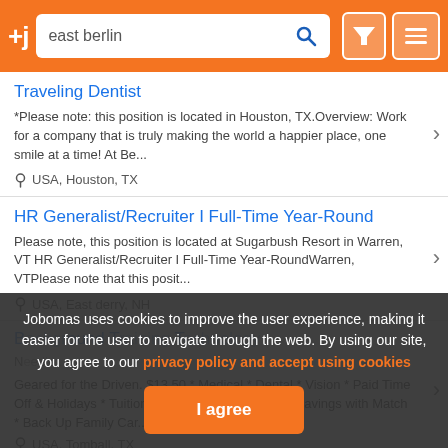+j east berlin [search] [filter] [menu]
Traveling Dentist
*Please note: this position is located in Houston, TX.Overview: Work for a company that is truly making the world a happier place, one smile at a time! At Be...
USA, Houston, TX
HR Generalist/Recruiter I Full-Time Year-Round
Please note, this position is located at Sugarbush Resort in Warren, VT HR Generalist/Recruiter I Full-Time Year-RoundWarren, VTPlease note that this posit...
USA, East derry, NH
Geared for the Driven. $13.50 * Medical * Dental * Vision * Paid Time Off & Holidays * Tuition Reimbursement * 401(k) Savings with Match * Back Up Family Car...
USA, Tomball, TX
Jobomas uses cookies to improve the user experience, making it easier for the user to navigate through the web. By using our site, you agree to our privacy policy and accept using cookies
I agree